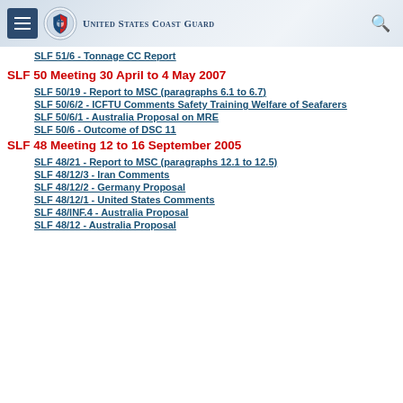United States Coast Guard
SLF 51/6 - Tonnage CC Report
SLF 50 Meeting 30 April to 4 May 2007
SLF 50/19 - Report to MSC (paragraphs 6.1 to 6.7)
SLF 50/6/2 - ICFTU Comments Safety Training Welfare of Seafarers
SLF 50/6/1 - Australia Proposal on MRE
SLF 50/6 - Outcome of DSC 11
SLF 48 Meeting 12 to 16 September 2005
SLF 48/21 - Report to MSC (paragraphs 12.1 to 12.5)
SLF 48/12/3 - Iran Comments
SLF 48/12/2 - Germany Proposal
SLF 48/12/1 - United States Comments
SLF 48/INF.4 - Australia Proposal
SLF 48/12 - Australia Proposal